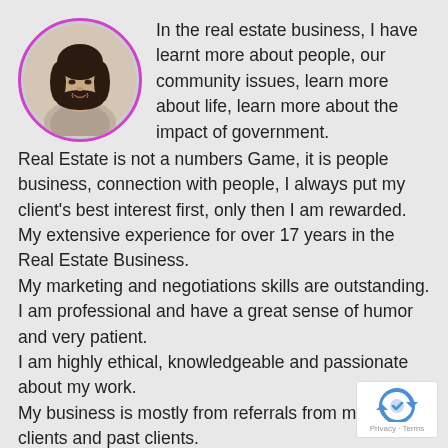[Figure (photo): Circular portrait photo of a woman with dark hair, outlined with a purple circle border]
In the real estate business, I have learnt more about people, our community issues, learn more about life, learn more about the impact of government. Real Estate is not a numbers Game, it is people business, connection with people, I always put my client's best interest first, only then I am rewarded.
My extensive experience for over 17 years in the Real Estate Business.
My marketing and negotiations skills are outstanding.
I am professional and have a great sense of humor and very patient.
I am highly ethical, knowledgeable and passionate about my work.
My business is mostly from referrals from my current clients and past clients.
[Figure (logo): reCAPTCHA logo with Privacy and Terms text]